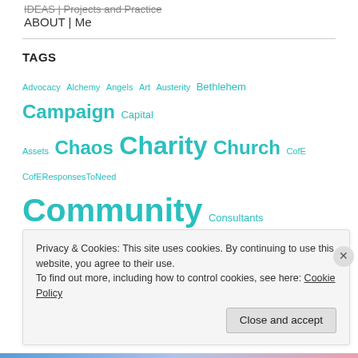IDEAS | Projects and Practice
ABOUT | Me
TAGS
Advocacy Alchemy Angels Art Austerity Bethlehem Campaign Capital Assets Chaos Charity Church CofE CofEResponsesToNeed Community Consultants Economics Election Estate Community Listening Consultation Council Estates Faith Festival
Privacy & Cookies: This site uses cookies. By continuing to use this website, you agree to their use.
To find out more, including how to control cookies, see here: Cookie Policy
Close and accept